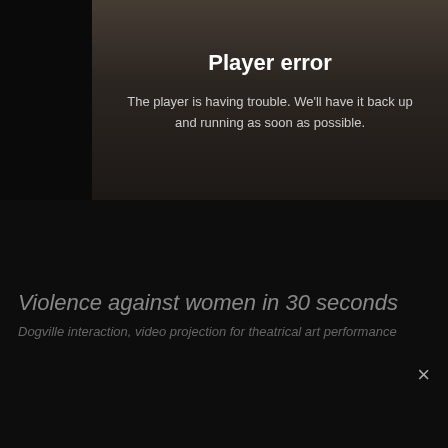[Figure (screenshot): Video player area showing a dark scene with people outdoors, overlaid with a player error message]
Player error
The player is having trouble. We'll have it back up and running as soon as possible.
Violence against women in 30 seconds
Dogville interaction, video projection for theatrical art performance
[Figure (screenshot): Second video thumbnail showing a dark blurred scene with a blue-teal glow in the lower portion]
×